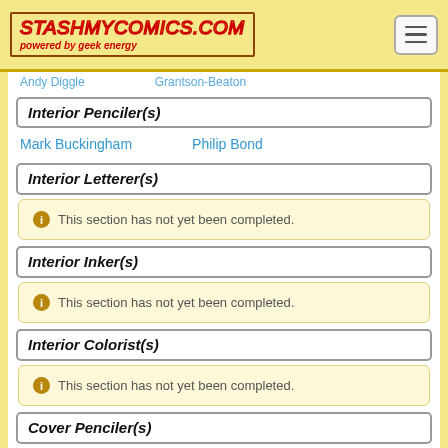StashMyComics.com powered by geek energy
Andy Diggle | Grantson-Beaton
Interior Penciler(s)
Mark Buckingham   Philip Bond
Interior Letterer(s)
This section has not yet been completed.
Interior Inker(s)
This section has not yet been completed.
Interior Colorist(s)
This section has not yet been completed.
Cover Penciler(s)
Mark Buckingham